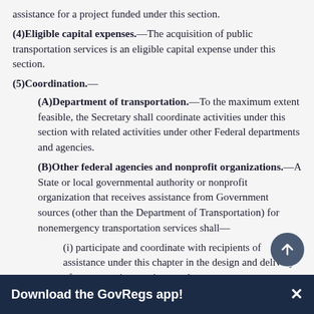assistance for a project funded under this section.
(4) Eligible capital expenses.—The acquisition of public transportation services is an eligible capital expense under this section.
(5) Coordination.—
(A) Department of transportation.—To the maximum extent feasible, the Secretary shall coordinate activities under this section with related activities under other Federal departments and agencies.
(B) Other federal agencies and nonprofit organizations.—A State or local governmental authority or nonprofit organization that receives assistance from Government sources (other than the Department of Transportation) for nonemergency transportation services shall—
(i) participate and coordinate with recipients of assistance under this chapter in the design and delivery of transportation services; and
(ii) participate in the planning for the transportation services described in clause (i).
Download the GovRegs app!